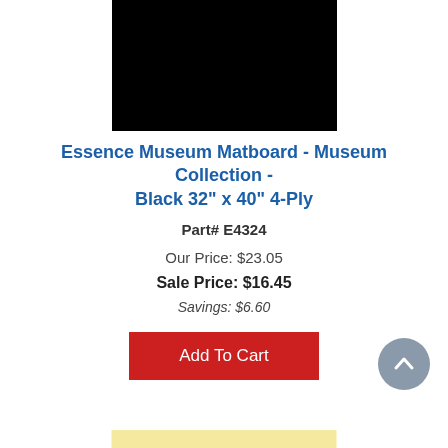[Figure (photo): Black rectangle representing product image of black matboard]
Essence Museum Matboard - Museum Collection - Black 32" x 40" 4-Ply
Part# E4324
Our Price: $23.05
Sale Price: $16.45
Savings: $6.60
[Figure (other): Add To Cart button in red]
[Figure (other): Scroll to top circular button with upward chevron]